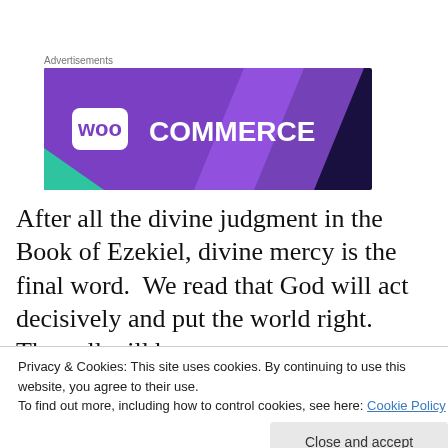Advertisements
[Figure (illustration): WooCommerce advertisement banner with purple/dark blue background and WooCommerce logo in white text]
After all the divine judgment in the Book of Ezekiel, divine mercy is the final word.  We read that God will act decisively and put the world right.  Then all will be
Privacy & Cookies: This site uses cookies. By continuing to use this website, you agree to their use.
To find out more, including how to control cookies, see here: Cookie Policy
Close and accept
side, so to speak, as I move along to Second Isaiah